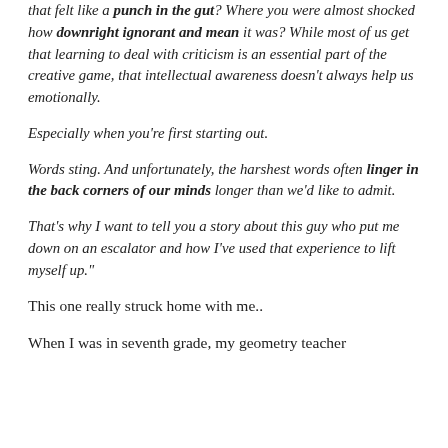that felt like a punch in the gut? Where you were almost shocked how downright ignorant and mean it was? While most of us get that learning to deal with criticism is an essential part of the creative game, that intellectual awareness doesn't always help us emotionally.
Especially when you're first starting out.
Words sting. And unfortunately, the harshest words often linger in the back corners of our minds longer than we'd like to admit.
That's why I want to tell you a story about this guy who put me down on an escalator and how I've used that experience to lift myself up."
This one really struck home with me..
When I was in seventh grade, my geometry teacher